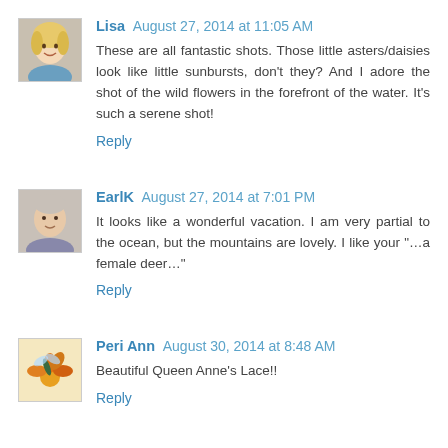[Figure (photo): Avatar photo of Lisa, a woman with blonde hair]
Lisa August 27, 2014 at 11:05 AM
These are all fantastic shots. Those little asters/daisies look like little sunbursts, don't they? And I adore the shot of the wild flowers in the forefront of the water. It's such a serene shot!
Reply
[Figure (photo): Avatar photo of EarlK, an older man]
EarlK August 27, 2014 at 7:01 PM
It looks like a wonderful vacation. I am very partial to the ocean, but the mountains are lovely. I like your "…a female deer…"
Reply
[Figure (photo): Avatar photo of Peri Ann, showing a dragonfly on orange flower]
Peri Ann August 30, 2014 at 8:48 AM
Beautiful Queen Anne's Lace!!
Reply